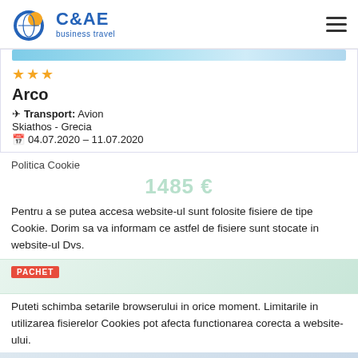C&AE business travel
[Figure (screenshot): Hotel listing card showing Arco hotel, 3 stars, Transport: Avion, Skiathos - Grecia, date 04.07.2020 - 11.07.2020]
Politica Cookie
1485 €
Pentru a se putea accesa website-ul sunt folosite fisiere de tipe Cookie. Dorim sa va informam ce astfel de fisiere sunt stocate in website-ul Dvs.
Puteti schimba setarile browserului in orice moment. Limitarile in utilizarea fisierelor Cookies pot afecta functionarea corecta a website-ului.
Sunt de acord
Dissallow cookies